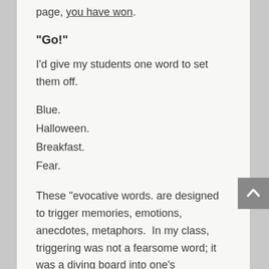page, you have won.
“Go!”
I’d give my students one word to set them off.
Blue.
Halloween.
Breakfast.
Fear.
These “evocative words. are designed to trigger memories, emotions, anecdotes, metaphors.  In my class, triggering was not a fearsome word; it was a diving board into one’s imagination.